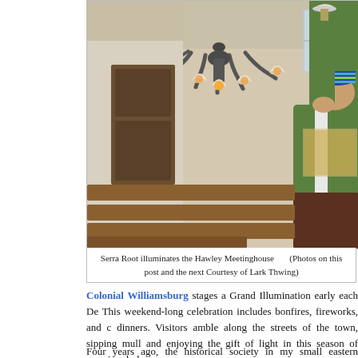[Figure (photo): A person wearing a green and brown jacket and a striped hat reaches up to light or adjust an ornate multi-arm chandelier with oil lamp shades inside the Hawley Meetinghouse. Wooden pews and furniture are visible in the background.]
Serra Root illuminates the Hawley Meetinghouse      (Photos on this post and the next Courtesy of Lark Thwing)
Colonial Williamsburg stages a Grand Illumination early each De... This weekend-long celebration includes bonfires, fireworks, and c... dinners. Visitors amble along the streets of the town, sipping mull... and enjoying the gift of light in this season of growing darkness.
Four years ago, the historical society in my small eastern Massach...